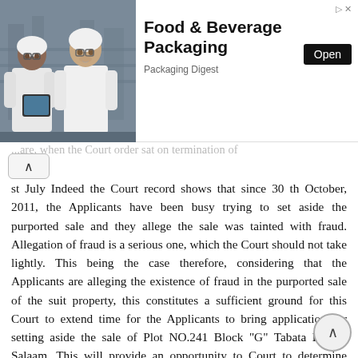[Figure (photo): Advertisement banner showing two workers in white coats and hairnets in a food/beverage facility, with text 'Food & Beverage Packaging', 'Packaging Digest', and an 'Open' button]
st July Indeed the Court record shows that since 30 th October, 2011, the Applicants have been busy trying to set aside the purported sale and they allege the sale was tainted with fraud. Allegation of fraud is a serious one, which the Court should not take lightly. This being the case therefore, considering that the Applicants are alleging the existence of fraud in the purported sale of the suit property, this constitutes a sufficient ground for this Court to extend time for the Applicants to bring application for setting aside the sale of Plot NO.241 Block "G" Tabata Dar es Salaam. This will provide an opportunity to Court to determine whether indeed there was fraud in the sale of the suit property as the Applicants allege. It is for the above reasons that the application for extension of time succeeds. The Applicants are hereby granted extension of time to bring application to set aside the sale of the suit property Plot No.241 Block "G" Tabata Dar es Salaam